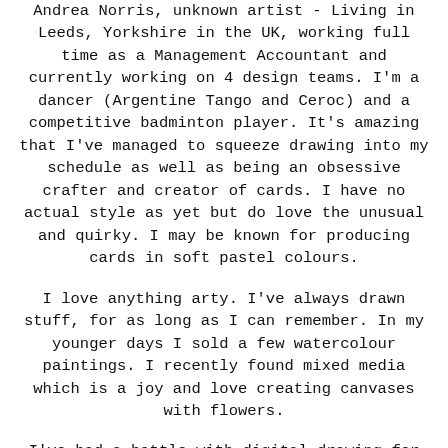Andrea Norris, unknown artist - Living in Leeds, Yorkshire in the UK, working full time as a Management Accountant and currently working on 4 design teams.  I'm a dancer (Argentine Tango and Ceroc) and a competitive badminton player.  It's amazing that I've managed to squeeze drawing into my schedule as well as being an obsessive crafter and creator of cards.  I have no actual style as yet but do love the unusual and quirky.  I may be known for producing cards in soft pastel colours.
I love anything arty.  I've always drawn stuff, for as long as I can remember.   In my younger days I sold a few watercolour paintings.  I recently found mixed media which is a joy and love creating canvases with flowers.
I've had a battle with digital drawing for about a year and finally found some software I can gel with in January 2016.  Recently one of the challenge teams I worked on was short of a designer's images to create with so I drew some.  Then people kept asking me for my drawings.  So I thought what the heck let's open a shop and give something back to the crafting world, to the lovely ladies